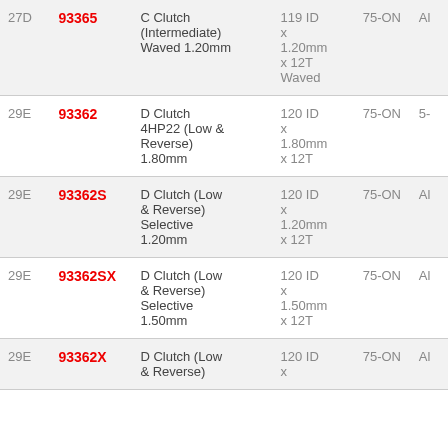| Ref | Part No. | Description | Spec | Year | Qty |
| --- | --- | --- | --- | --- | --- |
| 27D | 93365 | C Clutch (Intermediate) Waved 1.20mm | 119 ID x 1.20mm x 12T Waved | 75-ON | Al |
| 29E | 93362 | D Clutch 4HP22 (Low & Reverse) 1.80mm | 120 ID x 1.80mm x 12T | 75-ON | 5- |
| 29E | 93362S | D Clutch (Low & Reverse) Selective 1.20mm | 120 ID x 1.20mm x 12T | 75-ON | Al |
| 29E | 93362SX | D Clutch (Low & Reverse) Selective 1.50mm | 120 ID x 1.50mm x 12T | 75-ON | Al |
| 29E | 93362X | D Clutch (Low & Reverse) | 120 ID x | 75-ON | Al |